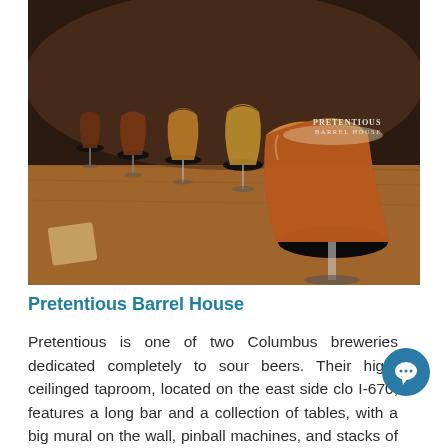[Figure (photo): A row of tulip-style beer tasting glasses on a wooden flight board at Pretentious Barrel House. The glasses contain beers ranging from amber to golden. The Pretentious Barrel House logo is visible on the foreground glass. The setting is a taproom with a dark wooden bar.]
Pretentious Barrel House
Pretentious is one of two Columbus breweries dedicated completely to sour beers. Their high-ceilinged taproom, located on the east side clo I-670, features a long bar and a collection of tables, with a big mural on the wall, pinball machines, and stacks of barrels all around. Order a flight of their Trucculent, Sybarite, or Erudite sours – or the many